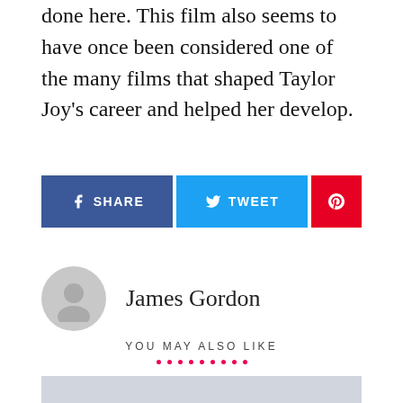done here. This film also seems to have once been considered one of the many films that shaped Taylor Joy's career and helped her develop.
[Figure (other): Social sharing buttons: Facebook Share, Twitter Tweet, and Pinterest]
James Gordon
YOU MAY ALSO LIKE
[Figure (other): Decorative dots row in red/pink]